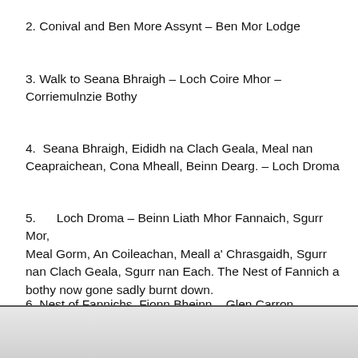2. Conival and Ben More Assynt – Ben Mor Lodge
3. Walk to Seana Bhraigh – Loch Coire Mhor – Corriemulnzie Bothy
4.  Seana Bhraigh, Eididh na Clach Geala, Meal nan Ceapraichean, Cona Mheall, Beinn Dearg. – Loch Droma
5.      Loch Droma – Beinn Liath Mhor Fannaich, Sgurr Mor, Meal Gorm, An Coileachan, Meall a' Chrasgaidh, Sgurr nan Clach Geala, Sgurr nan Each. The Nest of Fannich a bothy now gone sadly burnt down.
6. Nest of Fannichs  Fionn Bheinn – Glen Carron Scardroy Lodge.
[Figure (photo): Bottom strip showing a light grey surface, appears to be a photograph partially visible at the bottom of the page.]